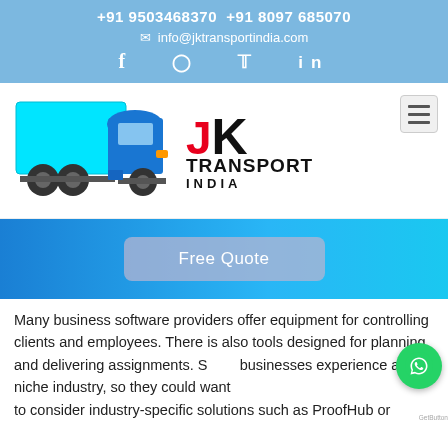+91 9503468370  +91 8097 685070
info@jktransportindia.com
f  instagram  twitter  in
[Figure (logo): JK Transport India logo with blue truck and red/black JK TRANSPORT INDIA text]
Free Quote
Many business software providers offer equipment for controlling clients and employees. There is also tools designed for planning and delivering assignments. Some businesses experience a niche industry, so they could want to consider industry-specific solutions such as ProofHub or